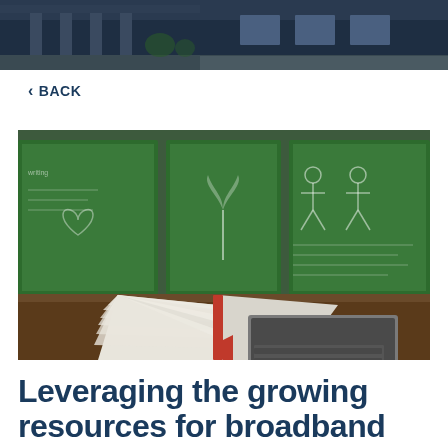[Figure (photo): Top banner photo of a modern building exterior with columns and landscaping, shot in blue/dark tones]
< BACK
[Figure (photo): Photo of an open book with pages fanning out next to a laptop computer, with green chalkboards visible in the background of a classroom]
Leveraging the growing resources for broadband